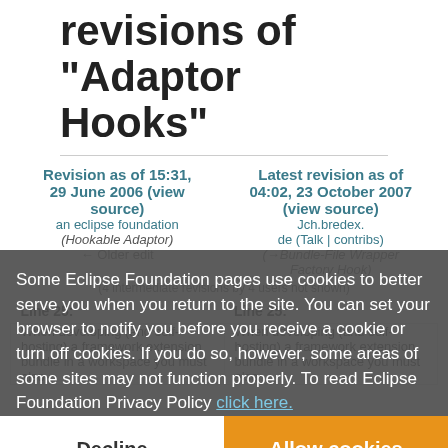revisions of "Adaptor Hooks"
| Revision as of 15:31, 29 June 2006 (view source) | Latest revision as of 04:02, 23 October 2007 (view source) |
| --- | --- |
| an eclipse foundation (Talk) | Jch.bredex.de (Talk | contribs) |
| (Hookable Adaptor) |  |
| ← Older edit | (→Bundle-File Wrapper Factory Hook) |
| (4 intermediate revisions by 4 users not shown) |  |
| Line 25: | Line 25: |
| When developing (and self-hosting) a framework extension bundle in a workspace you must also | When developing (and self-hosting) a framework extension bundle in a workspace you must also |
Some Eclipse Foundation pages use cookies to better serve you when you return to the site. You can set your browser to notify you before you receive a cookie or turn off cookies. If you do so, however, some areas of some sites may not function properly. To read Eclipse Foundation Privacy Policy click here.